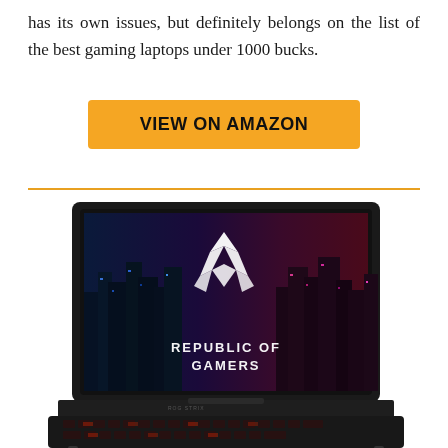has its own issues, but definitely belongs on the list of the best gaming laptops under 1000 bucks.
[Figure (other): Orange 'VIEW ON AMAZON' button]
[Figure (photo): ASUS ROG gaming laptop open showing screen with Republic of Gamers wallpaper and red backlit keyboard, viewed from front angle]